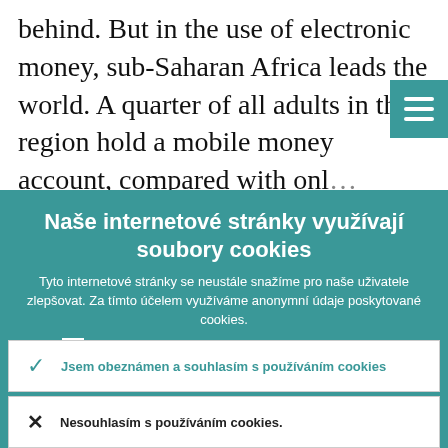behind. But in the use of electronic money, sub-Saharan Africa leads the world. A quarter of all adults in that region hold a mobile money account, compared with onl…
Naše internetové stránky využívají soubory cookies
Tyto internetové stránky se neustále snažíme pro naše uživatele zlepšovat. Za tímto účelem využíváme anonymní údaje poskytované cookies.
› Více informací o tom, jak využíváme cookies
Jsem obeznámen a souhlasím s používáním cookies
Nesouhlasím s používáním cookies.